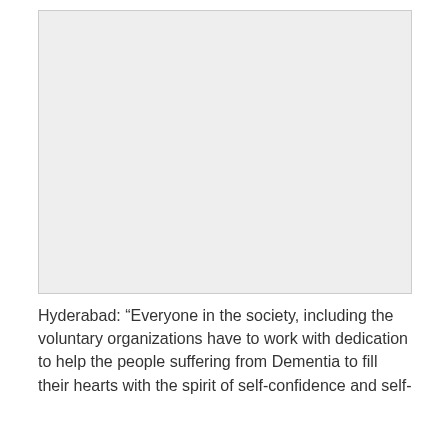[Figure (photo): Placeholder image area, light gray background]
Hyderabad: “Everyone in the society, including the voluntary organizations have to work with dedication to help the people suffering from Dementia to fill their hearts with the spirit of self-confidence and self-reliance.”